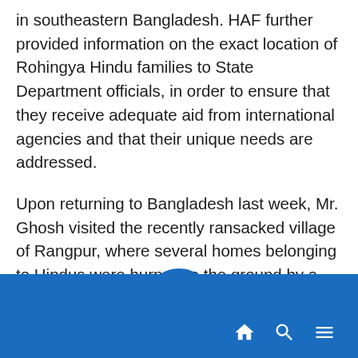in southeastern Bangladesh. HAF further provided information on the exact location of Rohingya Hindu families to State Department officials, in order to ensure that they receive adequate aid from international agencies and that their unique needs are addressed.
Upon returning to Bangladesh last week, Mr. Ghosh visited the recently ransacked village of Rangpur, where several homes belonging to Hindus were burned to the ground by a mob of thousands of people. The village was burned down after local Islamist clerics incited villagers to target